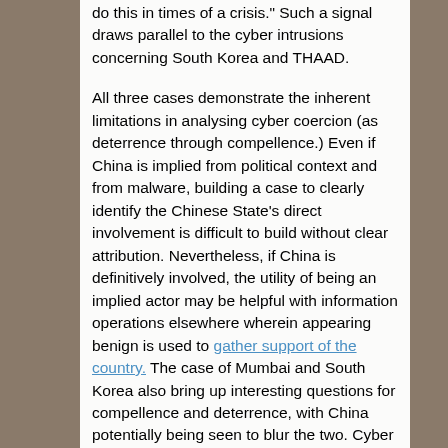do this in times of a crisis." Such a signal draws parallel to the cyber intrusions concerning South Korea and THAAD.

All three cases demonstrate the inherent limitations in analysing cyber coercion (as deterrence through compellence.) Even if China is implied from political context and from malware, building a case to clearly identify the Chinese State's direct involvement is difficult to build without clear attribution. Nevertheless, if China is definitively involved, the utility of being an implied actor may be helpful with information operations elsewhere wherein appearing benign is used to gather support of the country. The case of Mumbai and South Korea also bring up interesting questions for compellence and deterrence, with China potentially being seen to blur the two. Cyber coercion overall remains somewhat